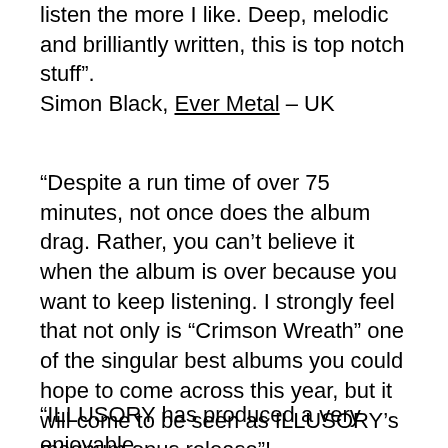listen the more I like. Deep, melodic and brilliantly written, this is top notch stuff". Simon Black, Ever Metal – UK
"Despite a run time of over 75 minutes, not once does the album drag. Rather, you can't believe it when the album is over because you want to keep listening. I strongly feel that not only is "Crimson Wreath" one of the singular best albums you could hope to come across this year, but it will come to be seen as ILLUSORY's magnum opus release"! Jay Roberts, Knac – USA
"ILLUSORY has produced a very enjoyable